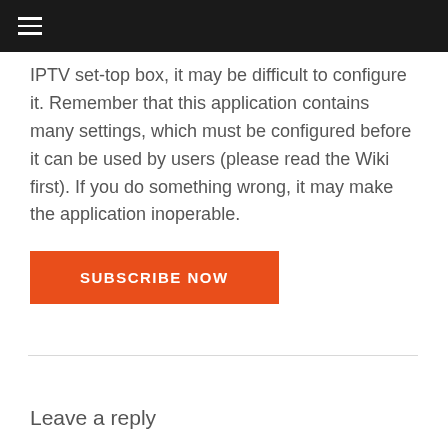≡
IPTV set-top box, it may be difficult to configure it. Remember that this application contains many settings, which must be configured before it can be used by users (please read the Wiki first). If you do something wrong, it may make the application inoperable.
SUBSCRIBE NOW
Leave a reply